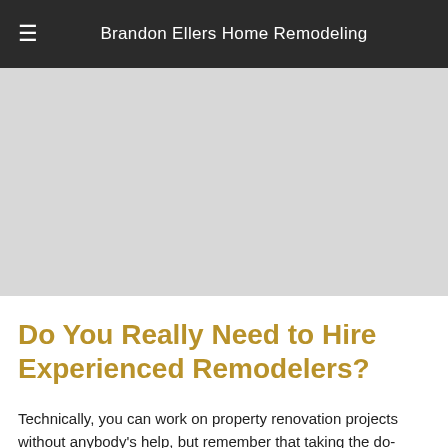Brandon Ellers Home Remodeling
[Figure (photo): Large image placeholder area below the navigation header]
Do You Really Need to Hire Experienced Remodelers?
Technically, you can work on property renovation projects without anybody's help, but remember that taking the do-